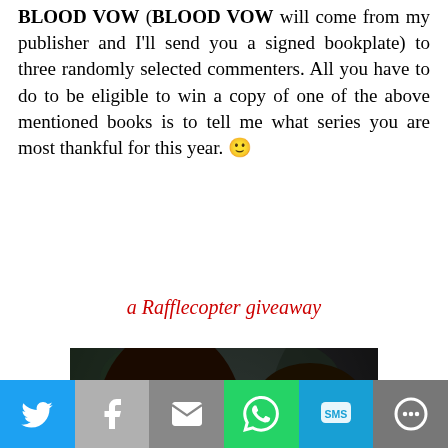BLOOD VOW (BLOOD VOW will come from my publisher and I'll send you a signed bookplate) to three randomly selected commenters. All you have to do to be eligible to win a copy of one of the above mentioned books is to tell me what series you are most thankful for this year. 🙂
a Rafflecopter giveaway
[Figure (photo): Book cover image showing a woman with long dark hair wearing a black strapless top leaning against a shirtless man with a large tribal tattoo on his arm, dark moody outdoor background.]